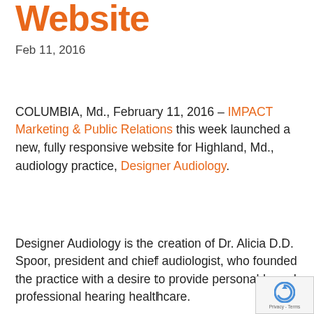Website
Feb 11, 2016
COLUMBIA, Md., February 11, 2016 – IMPACT Marketing & Public Relations this week launched a new, fully responsive website for Highland, Md., audiology practice, Designer Audiology.
Designer Audiology is the creation of Dr. Alicia D.D. Spoor, president and chief audiologist, who founded the practice with a desire to provide personable and professional hearing healthcare.
Dr. Spoor earned her Doctorate in Audiology from Gallaudet University in Washington, D.C., where she garnered invaluable insight working with members of the Deaf Community, and worked at the